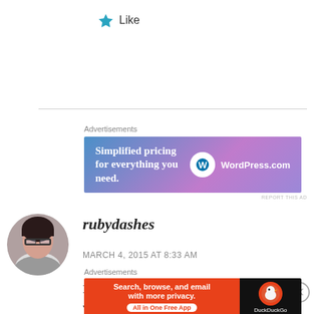★ Like
[Figure (infographic): WordPress.com advertisement banner: 'Simplified pricing for everything you need.' with WordPress.com logo on blue-to-purple gradient background]
REPORT THIS AD
rubydashes
MARCH 4, 2015 AT 8:33 AM
I keep telling myself the same thing. Spring will be here soon. Congratulations on you upcoming
Advertisements
[Figure (infographic): DuckDuckGo advertisement banner: 'Search, browse, and email with more privacy. All in One Free App' with DuckDuckGo logo on orange and dark background]